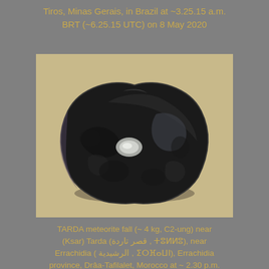Tiros, Minas Gerais, in Brazil at ~3.25.15 a.m. BRT (~6.25.15 UTC) on 8 May 2020
[Figure (photo): Photograph of a dark black meteorite stone with a roughly heart/triangular shape, showing a glossy fusion crust with a white/light-colored inclusion visible near the center, resting on a sandy beige background.]
TARDA meteorite fall (~ 4 kg, C2-ung) near (Ksar) Tarda (قصر تاردة , ⵜⵓⵍⵍⵓ), near Errachidia ( الرشيدية , ⵉⵔⴼⴰⵡⵏ), Errachidia province, Drâa-Tafilalet, Morocco at ~ 2.30 p.m. (1.30 UT) on 25 August 2020